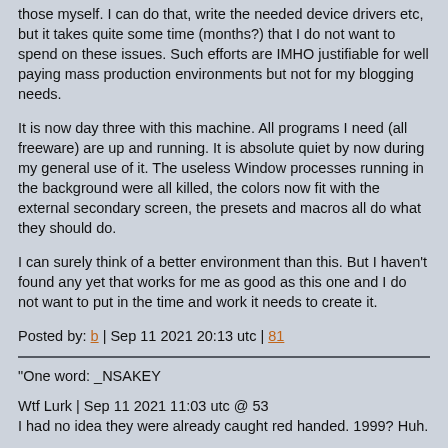those myself. I can do that, write the needed device drivers etc, but it takes quite some time (months?) that I do not want to spend on these issues. Such efforts are IMHO justifiable for well paying mass production environments but not for my blogging needs.
It is now day three with this machine. All programs I need (all freeware) are up and running. It is absolute quiet by now during my general use of it. The useless Window processes running in the background were all killed, the colors now fit with the external secondary screen, the presets and macros all do what they should do.
I can surely think of a better environment than this. But I haven't found any yet that works for me as good as this one and I do not want to put in the time and work it needs to create it.
Posted by: b | Sep 11 2021 20:13 utc | 81
"One word: _NSAKEY
Wtf Lurk | Sep 11 2021 11:03 utc @ 53
I had no idea they were already caught red handed. 1999? Huh.
How does this get ignored by journalist security writers? It's like a mental illness.